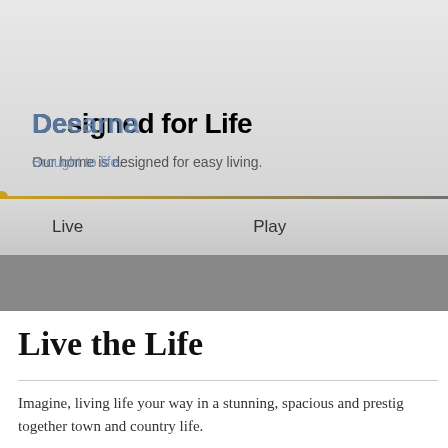Designed for Life / Deearna
Our home is designed for easy living. Brought to life.
Live   Play
Live the Life
Imagine, living life your way in a stunning, spacious and prestig together town and country life.